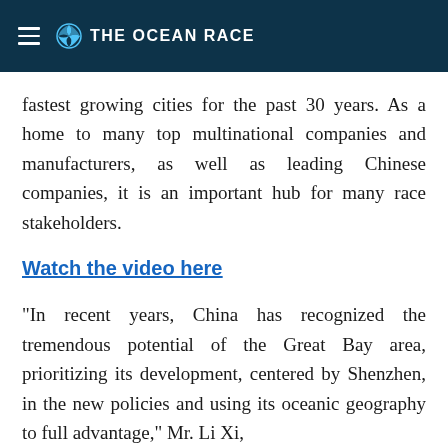THE OCEAN RACE
fastest growing cities for the past 30 years. As a home to many top multinational companies and manufacturers, as well as leading Chinese companies, it is an important hub for many race stakeholders.
Watch the video here
"In recent years, China has recognized the tremendous potential of the Great Bay area, prioritizing its development, centered by Shenzhen, in the new policies and using its oceanic geography to full advantage," Mr. Li Xi,